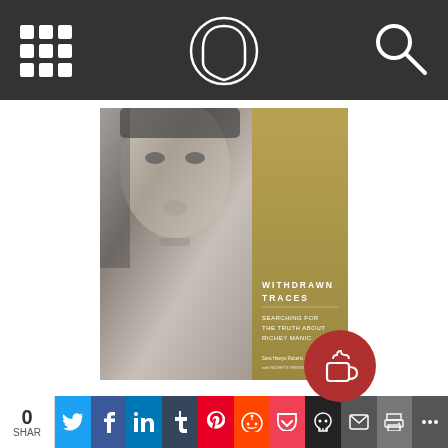Navigation header with grid, shield logo, and search icons
[Figure (photo): Book cover of 'Withdrawn Traces: Searching for the Truth about Richey Manic' — black and white photo of a young man's face on left two-thirds, gold/olive colored right panel with white text: WITHDRAWN TRACES / SEARCHING FOR THE TRUTH ABOUT RICHEY MANIC / Sara Hawys Roberts and Leon Noakes / with Richey's Personal Archive]
Withdrawn Traces: Searching for the Truth about Richey Manic
By Hawys Roberts, Sara and L…
0 SHAR | Twitter | Facebook | LinkedIn | Tumblr | Pinterest | Reddit | Pocket | Skull | Email | Print | More